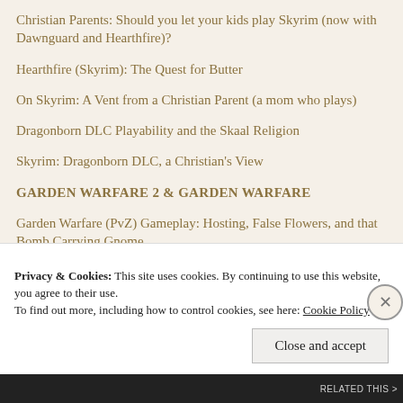Christian Parents: Should you let your kids play Skyrim (now with Dawnguard and Hearthfire)?
Hearthfire (Skyrim): The Quest for Butter
On Skyrim: A Vent from a Christian Parent (a mom who plays)
Dragonborn DLC Playability and the Skaal Religion
Skyrim: Dragonborn DLC, a Christian's View
GARDEN WARFARE 2 & GARDEN WARFARE
Garden Warfare (PvZ) Gameplay: Hosting, False Flowers, and that Bomb Carrying Gnome
Garden Warfare: The game for Christians (and others) who prefer bloodless mayhem
DRAGON AGE: INQUISITION
Privacy & Cookies: This site uses cookies. By continuing to use this website, you agree to their use.
To find out more, including how to control cookies, see here: Cookie Policy
Close and accept